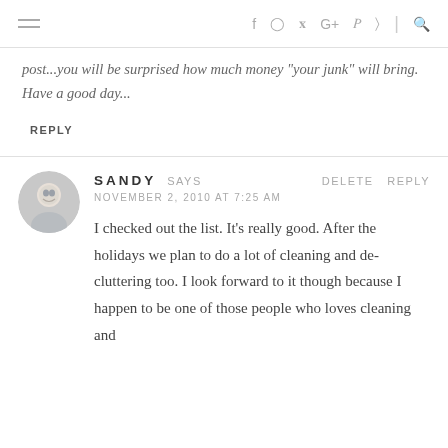navigation header with hamburger menu and social icons
post...you will be surprised how much money  your "junk" will bring. Have a good day...
REPLY
SANDY SAYS
NOVEMBER 2, 2010 AT 7:25 AM
DELETE REPLY
I checked out the list. It's really good. After the holidays we plan to do a lot of cleaning and de-cluttering too. I look forward to it though because I happen to be one of those people who loves cleaning and